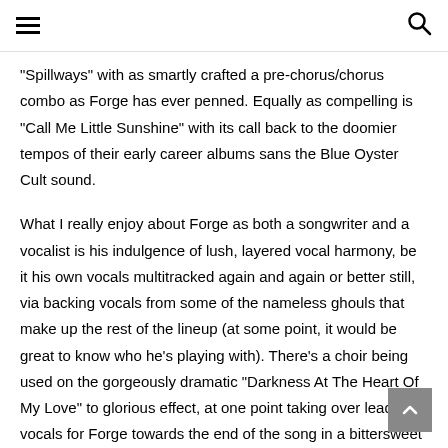≡ [hamburger menu] [search icon]
“Spillways” with as smartly crafted a pre-chorus/chorus combo as Forge has ever penned. Equally as compelling is “Call Me Little Sunshine” with its call back to the doomier tempos of their early career albums sans the Blue Oyster Cult sound.
What I really enjoy about Forge as both a songwriter and a vocalist is his indulgence of lush, layered vocal harmony, be it his own vocals multitracked again and again or better still, via backing vocals from some of the nameless ghouls that make up the rest of the lineup (at some point, it would be great to know who he’s playing with). There’s a choir being used on the gorgeously dramatic “Darkness At The Heart Of My Love” to glorious effect, at one point taking over lead vocals for Forge towards the end of the song in a bittersweet finale. And its